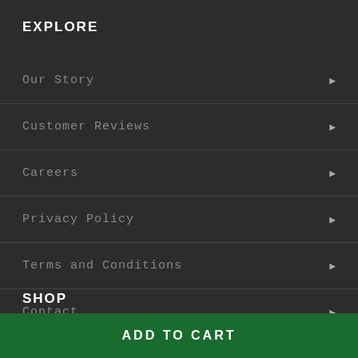EXPLORE
Our Story
Customer Reviews
Careers
Privacy Policy
Terms and Conditions
Contact
SHOP
ADD TO CART